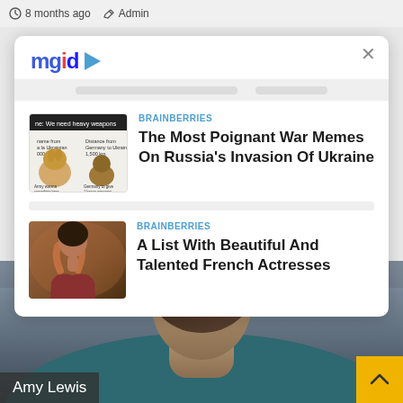8 months ago  Admin
[Figure (screenshot): MGID content recommendation widget popup with two article cards: 1) BRAINBERRIES - The Most Poignant War Memes On Russia's Invasion Of Ukraine, 2) BRAINBERRIES - A List With Beautiful And Talented French Actresses]
BRAINBERRIES
The Most Poignant War Memes On Russia's Invasion Of Ukraine
BRAINBERRIES
A List With Beautiful And Talented French Actresses
Amy Lewis